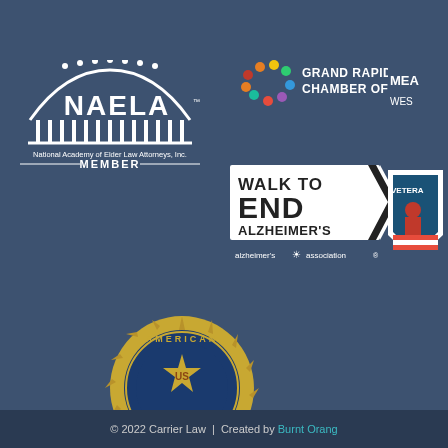[Figure (logo): NAELA - National Academy of Elder Law Attorneys, Inc. MEMBER logo in white on dark blue background]
[Figure (logo): Grand Rapids Area Chamber of Commerce logo with colorful dots circle icon]
[Figure (logo): Partially visible logo on upper right (MEA... WES...)]
[Figure (logo): Walk to END ALZHEIMER'S - Alzheimer's Association logo in white with arrow shape]
[Figure (logo): Partially visible Veterans logo on right side with shield shape]
[Figure (logo): American Legion US circular emblem logo in gold and blue]
© 2022 Carrier Law | Created by Burnt Orang